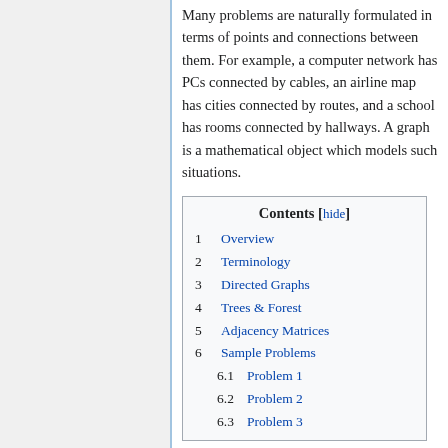Many problems are naturally formulated in terms of points and connections between them. For example, a computer network has PCs connected by cables, an airline map has cities connected by routes, and a school has rooms connected by hallways. A graph is a mathematical object which models such situations.
| Contents [hide] |
| 1 | Overview |
| 2 | Terminology |
| 3 | Directed Graphs |
| 4 | Trees & Forest |
| 5 | Adjacency Matrices |
| 6 | Sample Problems |
| 6.1 | Problem 1 |
| 6.2 | Problem 2 |
| 6.3 | Problem 3 |